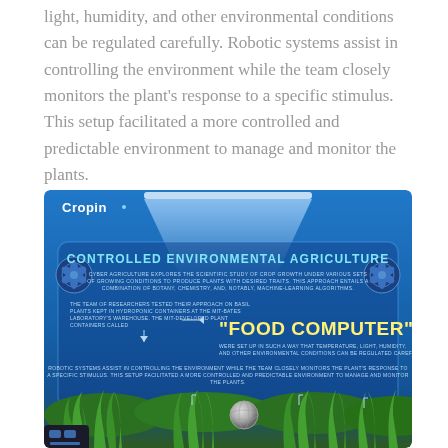light, humidity, and other environmental conditions can be regulated carefully. Robotic systems assist in controlling the environment while the team closely monitors the plant's response to a specific stimulus. This setup facilitated a more controlled and predictable environment to manage and monitor the plants.
[Figure (infographic): Cropin infographic about Controlled Environmental Agriculture showing a blue indoor farming setup with fans, lighting, a 'Food Computer' label, text about cyber agriculture and robotic systems, with green plants at the bottom.]